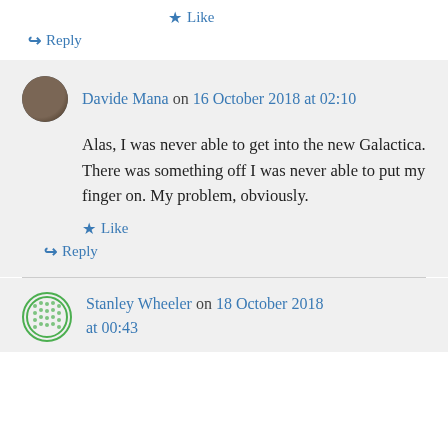★ Like
↪ Reply
Davide Mana on 16 October 2018 at 02:10
Alas, I was never able to get into the new Galactica. There was something off I was never able to put my finger on. My problem, obviously.
★ Like
↪ Reply
Stanley Wheeler on 18 October 2018 at 00:43